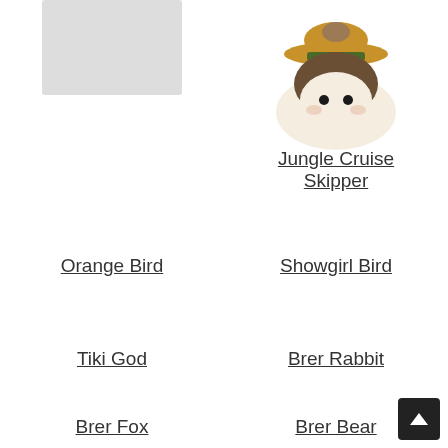[Figure (photo): Partially visible Tsum Tsum plush toy image (cut off at top), left column]
[Figure (photo): Jungle Cruise Skipper Tsum Tsum plush toy wearing a green-banded khaki hat with brown hair]
Jungle Cruise Skipper
Orange Bird
Showgirl Bird
Tiki God
Brer Rabbit
Brer Fox
Brer Bear